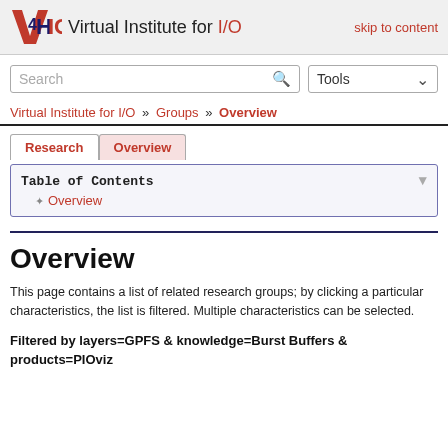Virtual Institute for I/O — skip to content
Search  Tools
Virtual Institute for I/O » Groups » Overview
Research  Overview
Table of Contents
Overview
Overview
This page contains a list of related research groups; by clicking a particular characteristics, the list is filtered. Multiple characteristics can be selected.
Filtered by layers=GPFS & knowledge=Burst Buffers & products=PIOviz